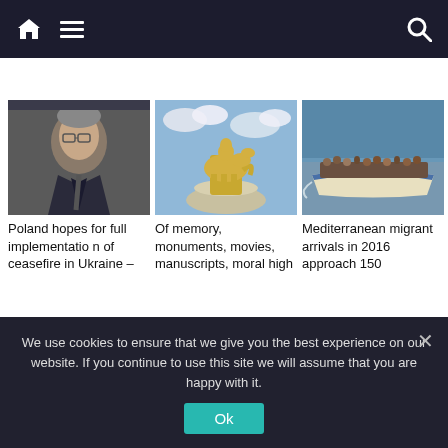Navigation bar with home, menu, and search icons
[Figure (photo): Photo of a middle-aged man in suit and glasses against dark background]
[Figure (photo): Photo of a golden equestrian statue against a blue sky]
[Figure (photo): Photo of a crowded boat of migrants on the Mediterranean sea]
Poland hopes for full implementation of ceasefire in Ukraine –
Of memory, monuments, movies, manuscripts, moral high
Mediterranean migrant arrivals in 2016 approach 150
We use cookies to ensure that we give you the best experience on our website. If you continue to use this site we will assume that you are happy with it.